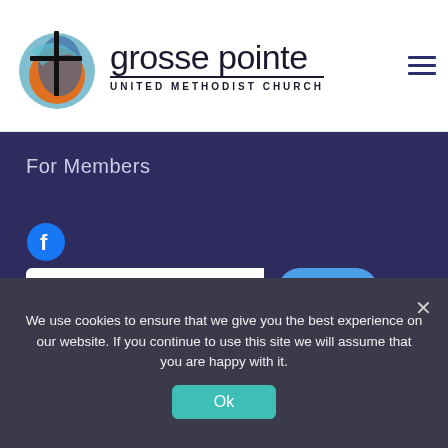[Figure (logo): Grosse Pointe United Methodist Church logo with circular cross emblem and church name text]
For Members
[Figure (logo): Facebook icon (circle with f)]
Search....
Search
We use cookies to ensure that we give you the best experience on our website. If you continue to use this site we will assume that you are happy with it.
Ok